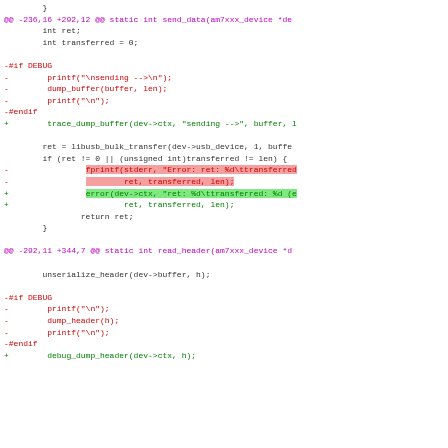code diff showing send_data and read_header function modifications
[Figure (screenshot): A unified diff view of C source code showing removals (red) and additions (green) with highlighted spans for changed code sections in send_data and read_header functions.]